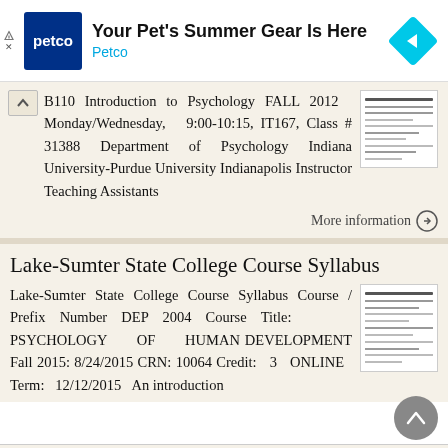[Figure (screenshot): Petco advertisement banner: Petco logo (dark blue square with 'petco' text), headline 'Your Pet's Summer Gear Is Here', subtext 'Petco', and a cyan diamond navigation arrow icon on the right.]
B110 Introduction to Psychology FALL 2012 Monday/Wednesday, 9:00-10:15, IT167, Class # 31388 Department of Psychology Indiana University-Purdue University Indianapolis Instructor Teaching Assistants
More information →
Lake-Sumter State College Course Syllabus
Lake-Sumter State College Course Syllabus Course / Prefix Number DEP 2004 Course Title: PSYCHOLOGY OF HUMAN DEVELOPMENT Fall 2015: 8/24/2015 CRN: 10064 Credit: 3 ONLINE Term: 12/12/2015 An introduction
More information →